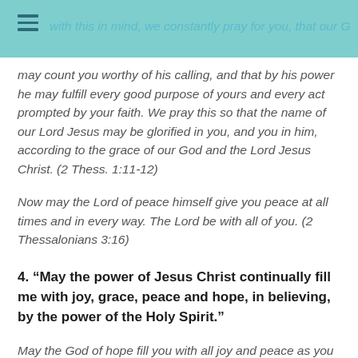with this in mind, we constantly pray for you, that our God
may count you worthy of his calling, and that by his power he may fulfill every good purpose of yours and every act prompted by your faith. We pray this so that the name of our Lord Jesus may be glorified in you, and you in him, according to the grace of our God and the Lord Jesus Christ. (2 Thess. 1:11-12)
Now may the Lord of peace himself give you peace at all times and in every way. The Lord be with all of you. (2 Thessalonians 3:16)
4. “May the power of Jesus Christ continually fill me with joy, grace, peace and hope, in believing, by the power of the Holy Spirit.”
May the God of hope fill you with all joy and peace as you